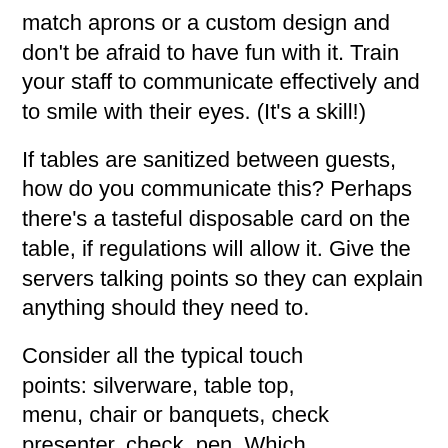match aprons or a custom design and don't be afraid to have fun with it. Train your staff to communicate effectively and to smile with their eyes. (It's a skill!)
If tables are sanitized between guests, how do you communicate this? Perhaps there's a tasteful disposable card on the table, if regulations will allow it. Give the servers talking points so they can explain anything should they need to.
Consider all the typical touch points: silverware, table top, menu, chair or banquets, check presenter, check, pen. Which ones need to be single use?  Which can you eliminate? Which ones can you easily sanitize?  We highly suggest offering contactless payment to eliminate handling credit cards or pens. And if you offer delivery or carryout, why not curbside pick-up?